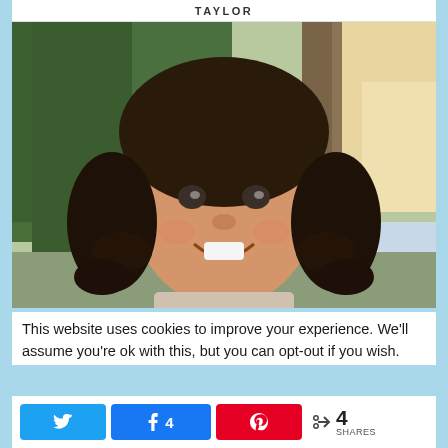TAYLOR
[Figure (photo): A smiling young girl with dark curly hair in pigtails, wearing a light top, photographed outdoors in front of green trees and a tree trunk in background]
This website uses cookies to improve your experience. We'll assume you're ok with this, but you can opt-out if you wish.
[Figure (infographic): Social share buttons: Twitter button, Facebook button showing count of 4, Pinterest button, and a share icon with total count 4 SHARES]